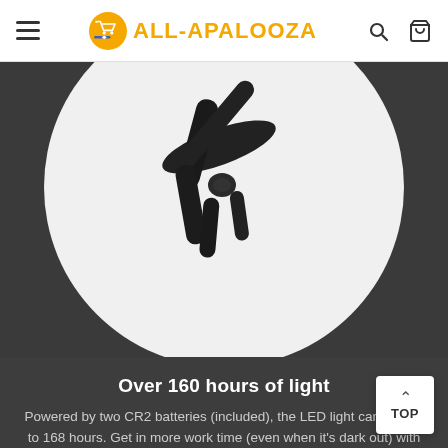ALL-APALOOZA
[Figure (photo): Close-up product photo of black LED light-up gloves on a white circular background against a dark grey backdrop, showing the glove straps and LED module.]
Over 160 hours of light
Powered by two CR2 batteries (included), the LED light can last up to 168 hours. Get in more work time (even when it's dark out) with these built-to-perform light-up gloves.